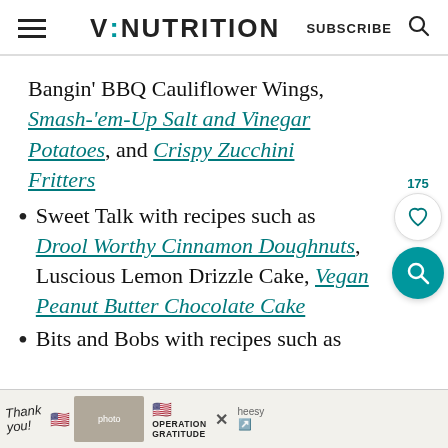V:NUTRITION  SUBSCRIBE
Bangin' BBQ Cauliflower Wings, Smash-'em-Up Salt and Vinegar Potatoes, and Crispy Zucchini Fritters
Sweet Talk with recipes such as Drool Worthy Cinnamon Doughnuts, Luscious Lemon Drizzle Cake, Vegan Peanut Butter Chocolate Cake
Bits and Bobs with recipes such as
[Figure (screenshot): Advertisement banner at bottom: 'Thank you!' with flag and Operation Gratitude imagery]